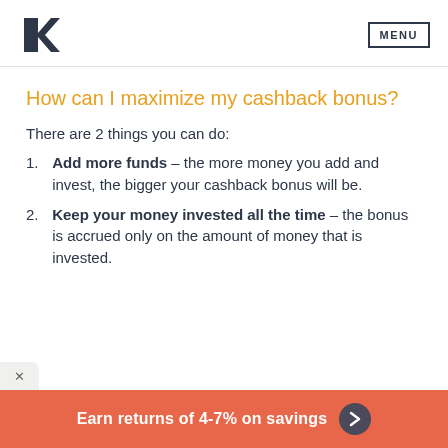K logo | MENU
How can I maximize my cashback bonus?
There are 2 things you can do:
Add more funds – the more money you add and invest, the bigger your cashback bonus will be.
Keep your money invested all the time – the bonus is accrued only on the amount of money that is invested.
Earn returns of 4-7% on savings